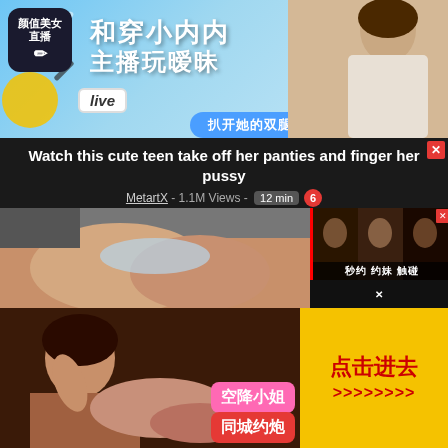[Figure (photo): Chinese live streaming advertisement banner with text 颜值美女直播, 和穿小内内主播玩暧昧, Live badge, 扒开她的双腿, blue background with decorative elements and a woman in white shirt]
Watch this cute teen take off her panties and finger her pussy
MetartX - 1.1M Views - 12 min 6
[Figure (photo): Thumbnail of adult content - blurred intimate image]
[Figure (photo): Side panel Chinese adult advertisement with close button]
[Figure (photo): Chinese adult services advertisement with woman photo, text 空降小姐, 同城约炮, 点击进去 on yellow background]